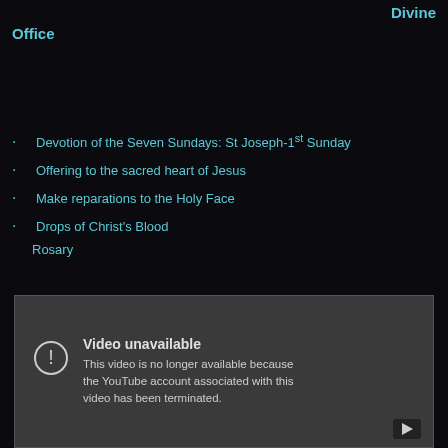Divine Office
Devotion of the Seven Sundays: St Joseph-1st Sunday
Offering to the sacred heart of Jesus
Make reparations to the Holy Face
Drops of Christ's Blood
Rosary
[Figure (screenshot): Embedded YouTube video player showing 'Video unavailable' error message: 'This video is no longer available because the YouTube account associated with this video has been terminated.']